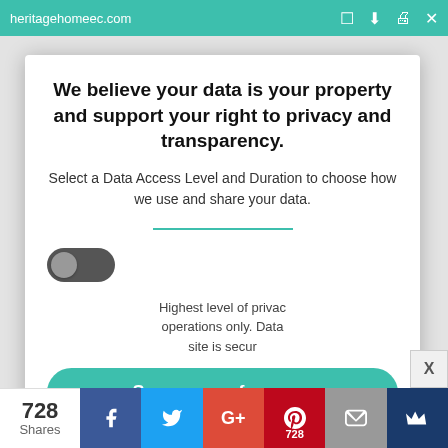heritagehomeec.com
We believe your data is your property and support your right to privacy and transparency.
Select a Data Access Level and Duration to choose how we use and share your data.
SILVER
Highest level of privacy. operations only. Data site is secur
Save my preferences
728 Shares